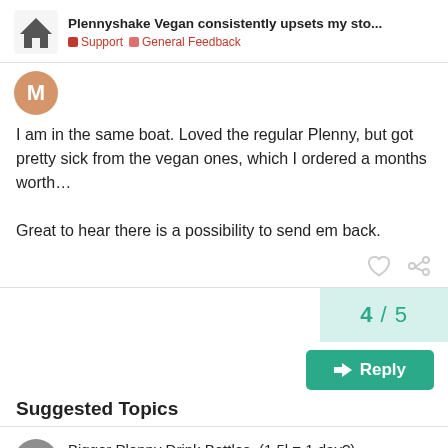Plennyshake Vegan consistently upsets my sto... | Support | General Feedback
I am in the same boat. Loved the regular Plenny, but got pretty sick from the vegan ones, which I ordered a months worth…

Great to hear there is a possibility to send em back.
4 / 5
Reply
Suggested Topics
Bigger Plenny Drink Bottles. (1.5l = 1 day?) — General Feedback — Sep '21 — 2
Plenny Pot: Ramen — 1